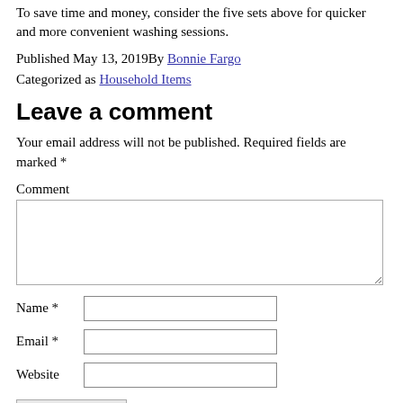To save time and money, consider the five sets above for quicker and more convenient washing sessions.
Published May 13, 2019By Bonnie Fargo
Categorized as Household Items
Leave a comment
Your email address will not be published. Required fields are marked *
Comment
Name *
Email *
Website
Post Comment